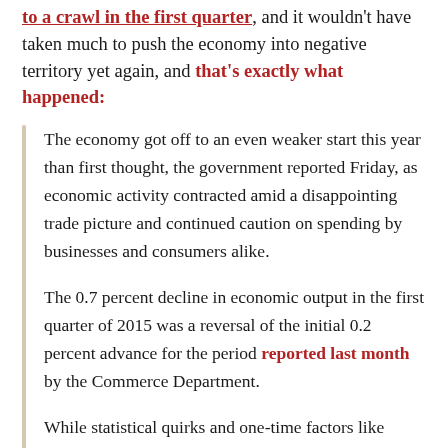to a crawl in the first quarter, and it wouldn't have taken much to push the economy into negative territory yet again, and that's exactly what happened:
The economy got off to an even weaker start this year than first thought, the government reported Friday, as economic activity contracted amid a disappointing trade picture and continued caution on spending by businesses and consumers alike.
The 0.7 percent decline in economic output in the first quarter of 2015 was a reversal of the initial 0.2 percent advance for the period reported last month by the Commerce Department.
While statistical quirks and one-time factors like wintry weather in some parts of the country played a role, as did a work slowdown at West Coast ports, the lackluster report